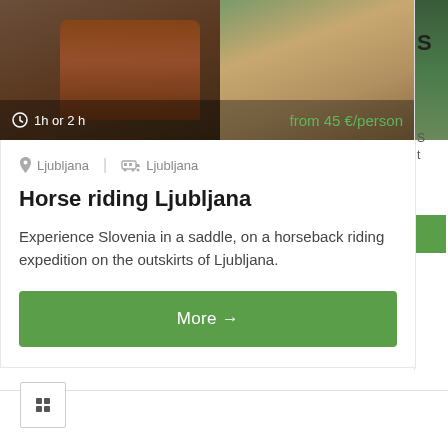[Figure (photo): Photo of a person with a horse at a stable/paddock with wooden fence, horse is brown/chestnut colored]
1h or 2 h
from 45 €/person
Ljubljana | Ljubljana
Horse riding Ljubljana
Experience Slovenia in a saddle, on a horseback riding expedition on the outskirts of Ljubljana.
More →